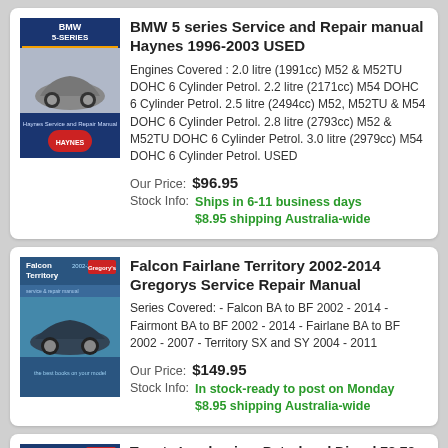[Figure (illustration): BMW 5-Series Haynes Service and Repair Manual book cover]
BMW 5 series Service and Repair manual Haynes 1996-2003 USED
Engines Covered : 2.0 litre (1991cc) M52 & M52TU DOHC 6 Cylinder Petrol. 2.2 litre (2171cc) M54 DOHC 6 Cylinder Petrol. 2.5 litre (2494cc) M52, M52TU & M54 DOHC 6 Cylinder Petrol. 2.8 litre (2793cc) M52 & M52TU DOHC 6 Cylinder Petrol. 3.0 litre (2979cc) M54 DOHC 6 Cylinder Petrol. USED
Our Price: $96.95
Stock Info: Ships in 6-11 business days $8.95 shipping Australia-wide
[Figure (illustration): Falcon Territory Gregorys Service & Repair Manual book cover]
Falcon Fairlane Territory 2002-2014 Gregorys Service Repair Manual
Series Covered: - Falcon BA to BF 2002 - 2014 - Fairmont BA to BF 2002 - 2014 - Fairlane BA to BF 2002 - 2007 - Territory SX and SY 2004 - 2011
Our Price: $149.95
Stock Info: In stock-ready to post on Monday $8.95 shipping Australia-wide
[Figure (illustration): Toyota Land Cruiser Gregorys 4WD Service & Repair Manual book cover]
Toyota Landcruiser Petrol and Diesel 78 79 100 105 series repair manual 1998-2007 Gregorys NEW
Engines Covered: - 4.2 litre (4164 cc) "1HZ" indirect-injection SOHC 6 cylinder diesel - 4.2 litre (4164 cc) "1HD-FTE" direct-